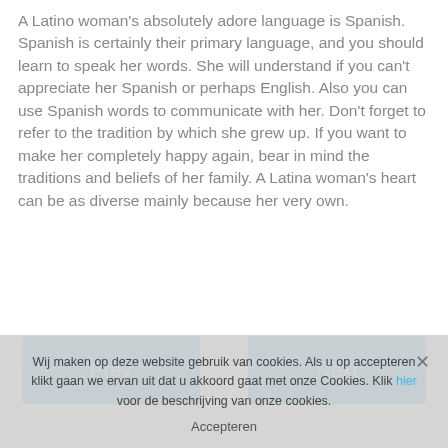A Latino woman's absolutely adore language is Spanish. Spanish is certainly their primary language, and you should learn to speak her words. She will understand if you can't appreciate her Spanish or perhaps English. Also you can use Spanish words to communicate with her. Don't forget to refer to the tradition by which she grew up. If you want to make her completely happy again, bear in mind the traditions and beliefs of her family. A Latina woman's heart can be as diverse mainly because her very own.
[Figure (other): Two navigation buttons: 'Prev' on the left and 'Next' on the right, both styled in blue]
Wij maken op deze website gebruik van cookies. Als u op accepteren klikt gaan we ervan uit dat u akkoord gaat met onze Cookies. Klik hier voor de beschrijving van onze cookies. Accepteren